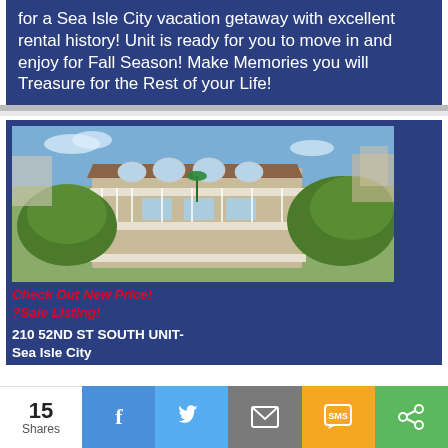for a Sea Isle City vacation getaway with excellent rental history! Unit is ready for you to move in and enjoy for Fall Season! Make Memories you will Treasure for the Rest of your Life!
[Figure (photo): Aerial/elevated exterior photo of a multi-story beach house with large white decks, arched windows, and green trees surrounding it in Sea Isle City.]
Check Out New Price!
?Sale Listing!
210 52ND ST SOUTH UNIT-
Sea Isle City
15 Shares | Facebook | Twitter | Email | SMS | Share